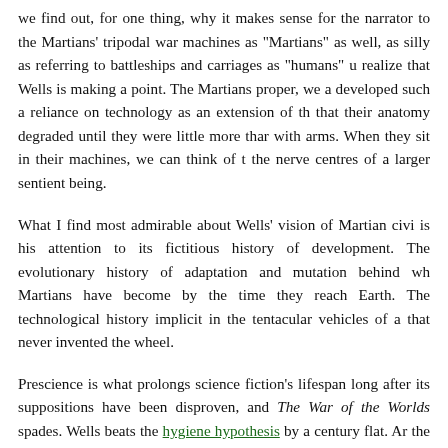we find out, for one thing, why it makes sense for the narrator to the Martians' tripodal war machines as "Martians" as well, as silly as referring to battleships and carriages as "humans" realize that Wells is making a point. The Martians proper, we a developed such a reliance on technology as an extension of th that their anatomy degraded until they were little more tha with arms. When they sit in their machines, we can think of t the nerve centres of a larger sentient being.
What I find most admirable about Wells' vision of Martian civi is his attention to its fictitious history of development. The evolutionary history of adaptation and mutation behind wh Martians have become by the time they reach Earth. The technological history implicit in the tentacular vehicles of a that never invented the wheel.
Prescience is what prolongs science fiction's lifespan long after its suppositions have been disproven, and The War of the Worlds spades. Wells beats the hygiene hypothesis by a century flat. A the easy reading of the novel maps the Martians to the E